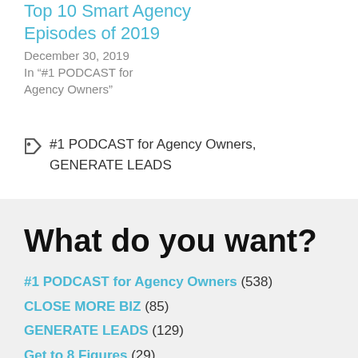Top 10 Smart Agency Episodes of 2019
December 30, 2019
In "#1 PODCAST for Agency Owners"
#1 PODCAST for Agency Owners, GENERATE LEADS
What do you want?
#1 PODCAST for Agency Owners (538)
CLOSE MORE BIZ (85)
GENERATE LEADS (129)
Get to 8 Figures (29)